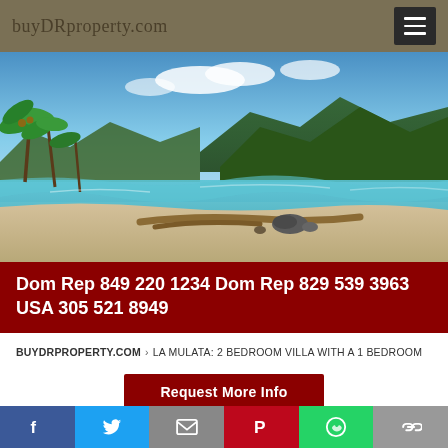buyDRproperty.com
[Figure (photo): Tropical beach scene with palm trees, clear turquoise water, driftwood on sand, and green mountains in the background under a blue sky.]
Dom Rep 849 220 1234 Dom Rep 829 539 3963 USA 305 521 8949
BUYDRPROPERTY.COM › LA MULATA: 2 BEDROOM VILLA WITH A 1 BEDROOM APARTMENT AND GUESTHOUSE, SUITE 5446 LA MULATA
LA MULATA: 2 BEDROOM VILLA
Request More Info